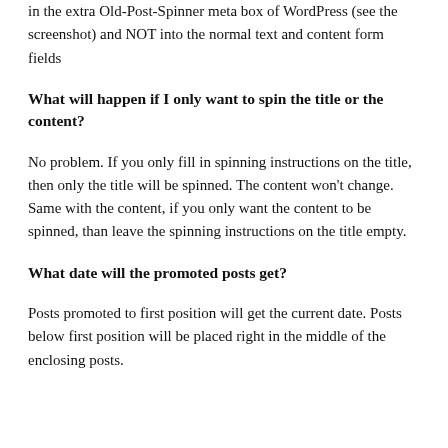in the extra Old-Post-Spinner meta box of WordPress (see the screenshot) and NOT into the normal text and content form fields
What will happen if I only want to spin the title or the content?
No problem. If you only fill in spinning instructions on the title, then only the title will be spinned. The content won't change. Same with the content, if you only want the content to be spinned, than leave the spinning instructions on the title empty.
What date will the promoted posts get?
Posts promoted to first position will get the current date. Posts below first position will be placed right in the middle of the enclosing posts.